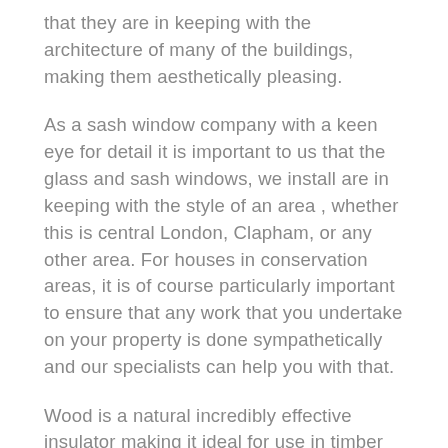that they are in keeping with the architecture of many of the buildings, making them aesthetically pleasing.
As a sash window company with a keen eye for detail it is important to us that the glass and sash windows, we install are in keeping with the style of an area , whether this is central London, Clapham, or any other area. For houses in conservation areas, it is of course particularly important to ensure that any work that you undertake on your property is done sympathetically and our specialists can help you with that.
Wood is a natural incredibly effective insulator making it ideal for use in timber sash windows. Sometimes timber sash windows can rattle in the frames making a room draughty, the